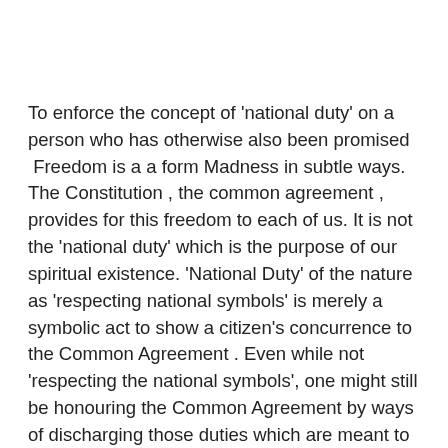To enforce the concept of 'national duty' on a person who has otherwise also been promised  Freedom is a a form Madness in subtle ways. The Constitution , the common agreement , provides for this freedom to each of us. It is not the 'national duty' which is the purpose of our spiritual existence. 'National Duty' of the nature as 'respecting national symbols' is merely a symbolic act to show a citizen's concurrence to the Common Agreement . Even while not 'respecting the national symbols', one might still be honouring the Common Agreement by ways of discharging those duties which are meant to preserve or enhance this Agreement, such as , by ways of defending the Common Agreement, by ways of enhancing the reach of the Common Agreement. The agreement is meant to provide something to each of us, not to exact something from each of us under some unchallenged condition. The agreement should not and must not used by one group of citizens, all of then party to the agreement, to seize control of the other group of